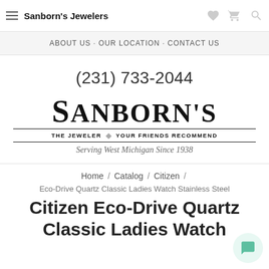Sanborn's Jewelers
ABOUT US · OUR LOCATION · CONTACT US
(231) 733-2044
[Figure (logo): Sanborn's Jewelers logo with text 'THE JEWELER YOUR FRIENDS RECOMMEND' and tagline 'Serving West Michigan Since 1938']
Home / Catalog / Citizen /
Eco-Drive Quartz Classic Ladies Watch Stainless Steel
Citizen Eco-Drive Quartz Classic Ladies Watch